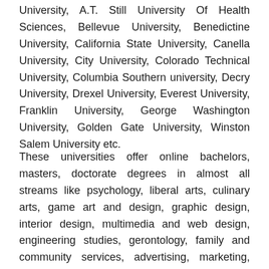University, A.T. Still University Of Health Sciences, Bellevue University, Benedictine University, California State University, Canella University, City University, Colorado Technical University, Columbia Southern university, Decry University, Drexel University, Everest University, Franklin University, George Washington University, Golden Gate University, Winston Salem University etc.
These universities offer online bachelors, masters, doctorate degrees in almost all streams like psychology, liberal arts, culinary arts, game art and design, graphic design, interior design, multimedia and web design, engineering studies, gerontology, family and community services, advertising, marketing, information technology,